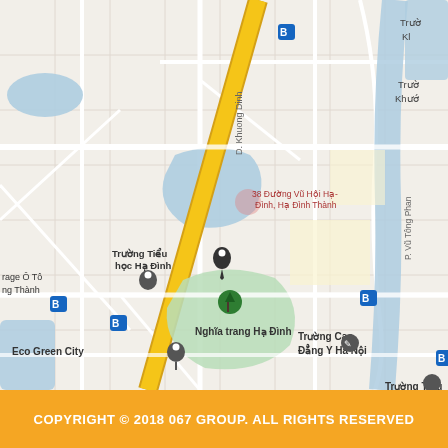[Figure (map): Google Maps view of Ha Dinh area in Hanoi, Vietnam. Shows streets, landmarks including Truong Tieu hoc Ha Dinh, Truong Cao Dang Y Ha Noi, Five Star Garden Kim Giang, Nghia trang Ha Dinh, Tram Nuoc Kim Giang, Eco Green City, and Garage O To Cong Thanh. Blue areas represent water bodies. Yellow diagonal line represents a major road. Bus stop icons visible throughout. River visible on right side (P. Vu Tong Phan area).]
COPYRIGHT © 2018 067 GROUP. ALL RIGHTS RESERVED